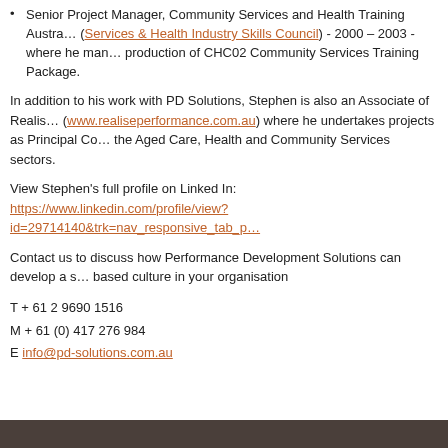Senior Project Manager, Community Services and Health Training Australia (Community Services & Health Industry Skills Council) - 2000 – 2003 - where he managed the production of CHC02 Community Services Training Package.
In addition to his work with PD Solutions, Stephen is also an Associate of Realise Performance (www.realiseperformance.com.au) where he undertakes projects as Principal Consultant in the Aged Care, Health and Community Services sectors.
View Stephen's full profile on Linked In:
https://www.linkedin.com/profile/view?id=29714140&trk=nav_responsive_tab_p...
Contact us to discuss how Performance Development Solutions can develop a strengths based culture in your organisation
T + 61 2 9690 1516
M + 61 (0) 417 276 984
E info@pd-solutions.com.au